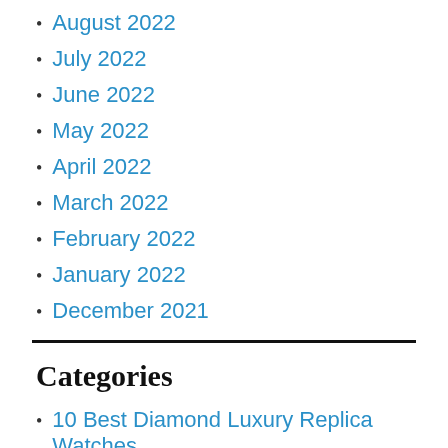August 2022
July 2022
June 2022
May 2022
April 2022
March 2022
February 2022
January 2022
December 2021
Categories
10 Best Diamond Luxury Replica Watches With Free Shipping